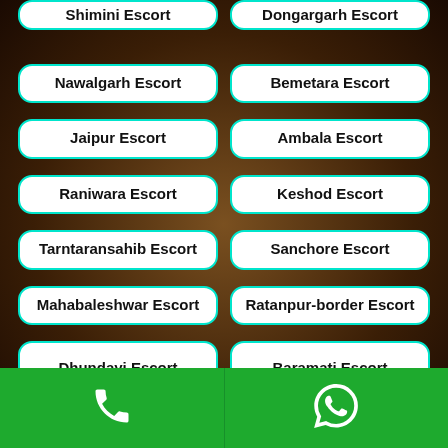Shimini Escort
Dongargarh Escort
Nawalgarh Escort
Bemetara Escort
Jaipur Escort
Ambala Escort
Raniwara Escort
Keshod Escort
Tarntaransahib Escort
Sanchore Escort
Mahabaleshwar Escort
Ratanpur-border Escort
Dhundayi Escort
Baramati Escort
Phone | WhatsApp